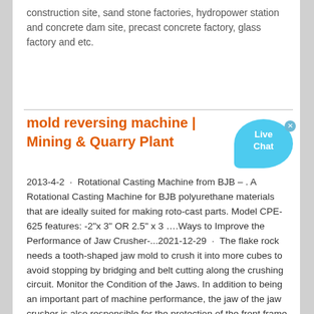construction site, sand stone factories, hydropower station and concrete dam site, precast concrete factory, glass factory and etc.
mold reversing machine | Mining & Quarry Plant
[Figure (other): Live Chat button overlay — a cyan speech bubble with 'Live Chat' text and a close X button]
2013-4-2 · Rotational Casting Machine from BJB – . A Rotational Casting Machine for BJB polyurethane materials that are ideally suited for making roto-cast parts. Model CPE-625 features: -2"x 3" OR 2.5" x 3 ….Ways to Improve the Performance of Jaw Crusher-...2021-12-29 · The flake rock needs a tooth-shaped jaw mold to crush it into more cubes to avoid stopping by bridging and belt cutting along the crushing circuit. Monitor the Condition of the Jaws. In addition to being an important part of machine performance, the jaw of the jaw crusher is also responsible for the protection of the front frame and the swing jaw.